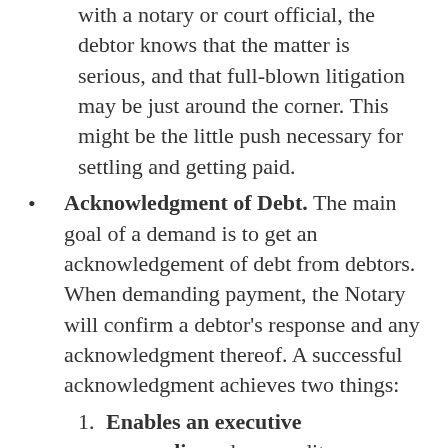with a notary or court official, the debtor knows that the matter is serious, and that full-blown litigation may be just around the corner. This might be the little push necessary for settling and getting paid.
Acknowledgment of Debt. The main goal of a demand is to get an acknowledgement of debt from debtors. When demanding payment, the Notary will confirm a debtor's response and any acknowledgment thereof. A successful acknowledgment achieves two things:
Enables an executive proceeding where creditors can...